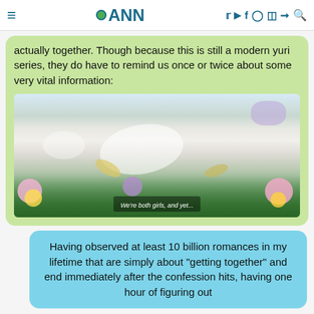ANN
actually together. Though because this is still a modern yuri series, they do have to remind us once or twice about some very vital information:
[Figure (screenshot): Anime screenshot of a garden scene with flowers and stone path; subtitle text reads: We're both girls, and yet...]
Having observed at least 10 billion romances in my lifetime that are simply about "getting together" and end immediately after the confession hits, having one hour of figuring out